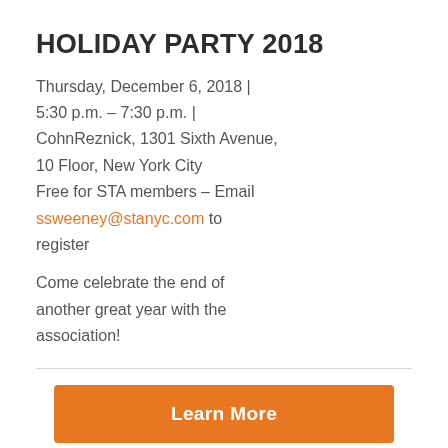HOLIDAY PARTY 2018
Thursday, December 6, 2018 | 5:30 p.m. – 7:30 p.m. | CohnReznick, 1301 Sixth Avenue, 10 Floor, New York City
Free for STA members – Email ssweeney@stanyc.com to register
Come celebrate the end of another great year with the association!
Learn More